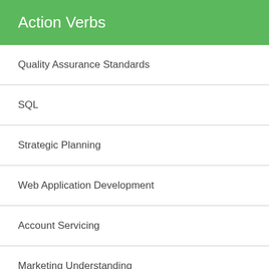Action Verbs
Quality Assurance Standards
SQL
Strategic Planning
Web Application Development
Account Servicing
Marketing Understanding
Equipment Maintenance